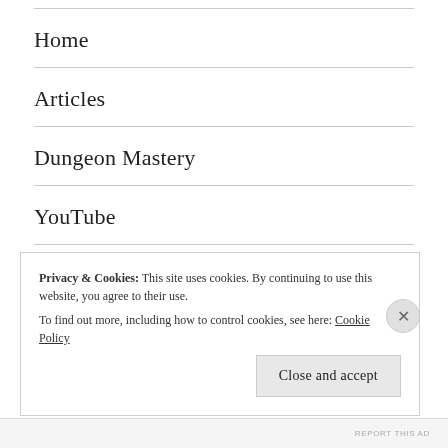Home
Articles
Dungeon Mastery
YouTube
Twitch
Contact
Privacy & Cookies: This site uses cookies. By continuing to use this website, you agree to their use.
To find out more, including how to control cookies, see here: Cookie Policy
REPORT THIS AD